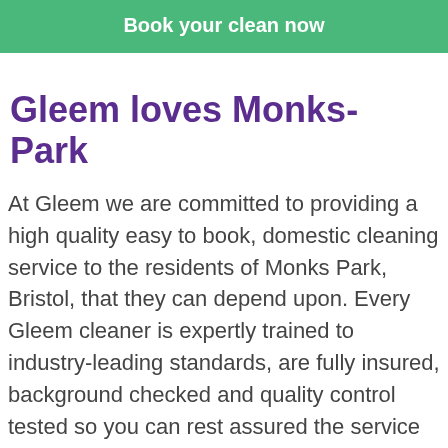Book your clean now
Gleem loves Monks-Park
At Gleem we are committed to providing a high quality easy to book, domestic cleaning service to the residents of Monks Park, Bristol, that they can depend upon. Every Gleem cleaner is expertly trained to industry-leading standards, are fully insured, background checked and quality control tested so you can rest assured the service you receive is trustworthy and sure to exceed